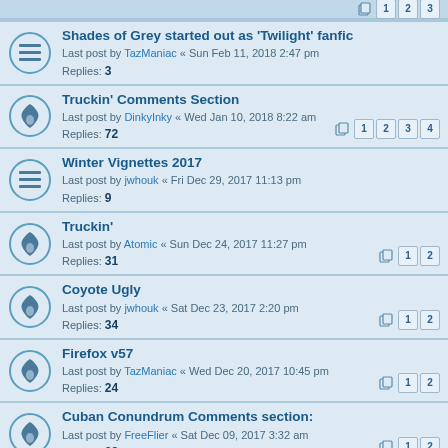Shades of Grey started out as 'Twilight' fanfic — Last post by TazManiac « Sun Feb 11, 2018 2:47 pm — Replies: 3
Truckin' Comments Section — Last post by DinkyInky « Wed Jan 10, 2018 8:22 am — Replies: 72 — Pages: 1 2 3 4
Winter Vignettes 2017 — Last post by jwhouk « Fri Dec 29, 2017 11:13 pm — Replies: 9
Truckin' — Last post by Atomic « Sun Dec 24, 2017 11:27 pm — Replies: 31 — Pages: 1 2
Coyote Ugly — Last post by jwhouk « Sat Dec 23, 2017 2:20 pm — Replies: 34 — Pages: 1 2
Firefox v57 — Last post by TazManiac « Wed Dec 20, 2017 10:45 pm — Replies: 24 — Pages: 1 2
Cuban Conundrum Comments section: — Last post by FreeFlier « Sat Dec 09, 2017 3:32 am — Replies: 39 — Pages: 1 2
Trespass Comments Section — Last post by DinkyInky « Thu Nov 30, 2017 10:43 pm — Replies: 157